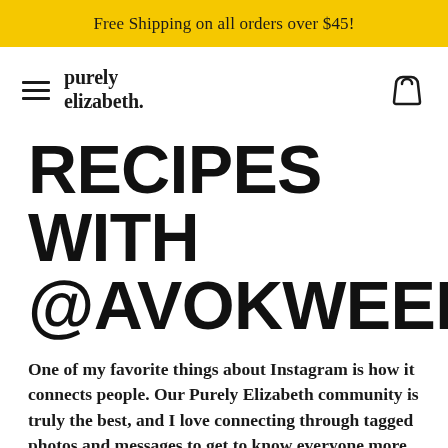Free Shipping on all orders over $45!
[Figure (logo): Purely Elizabeth brand logo with hamburger menu icon on the left and basket/cart icon on the right]
RECIPES WITH @AVOKWEEN
One of my favorite things about Instagram is how it connects people. Our Purely Elizabeth community is truly the best, and I love connecting through tagged photos and messages to get to know everyone more.